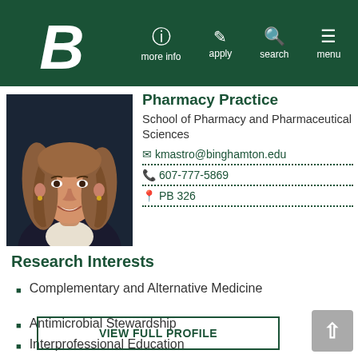Binghamton University - more info, apply, search, menu
[Figure (photo): Headshot of a woman with long wavy hair, smiling, wearing dark top]
Pharmacy Practice
School of Pharmacy and Pharmaceutical Sciences
kmastro@binghamton.edu
607-777-5869
PB 326
Research Interests
Complementary and Alternative Medicine
Antimicrobial Stewardship
Interprofessional Education
VIEW FULL PROFILE